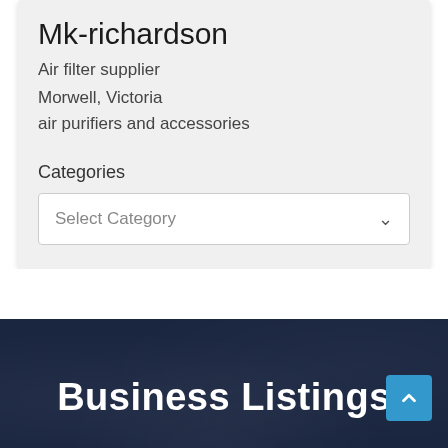Mk-richardson
Air filter supplier
Morwell, Victoria
air purifiers and accessories
Categories
Select Category
Business Listings